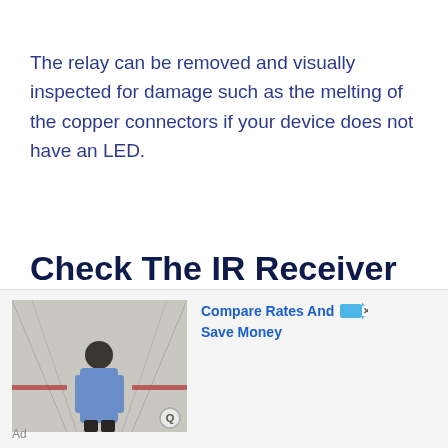The relay can be removed and visually inspected for damage such as the melting of the copper connectors if your device does not have an LED.
Check The IR Receiver and Transmitter
Another option is to check the IR receiver
[Figure (photo): Advertisement overlay showing a man standing in front of a truck trailer, with text 'Compare Rates And Save Money' and an Ad label]